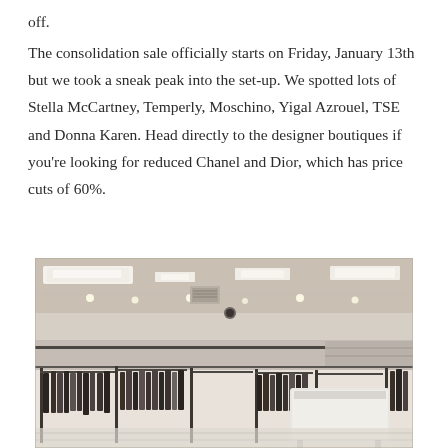off.

The consolidation sale officially starts on Friday, January 13th but we took a sneak peak into the set-up. We spotted lots of Stella McCartney, Temperly, Moschino, Yigal Azrouel, TSE and Donna Karen. Head directly to the designer boutiques if you're looking for reduced Chanel and Dior, which has price cuts of 60%.
[Figure (photo): Interior of a department store showing clothing racks filled with garments, white ceiling with recessed lighting panels, and a white display counter in the middle-right area.]